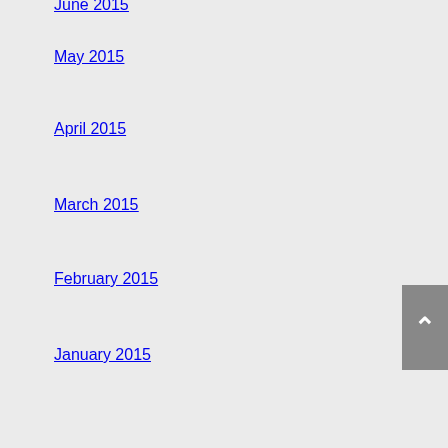June 2015
May 2015
April 2015
March 2015
February 2015
January 2015
December 2014
November 2014
October 2014
September 2014
August 2014
July 2014
June 2014
May 2014
April 2014